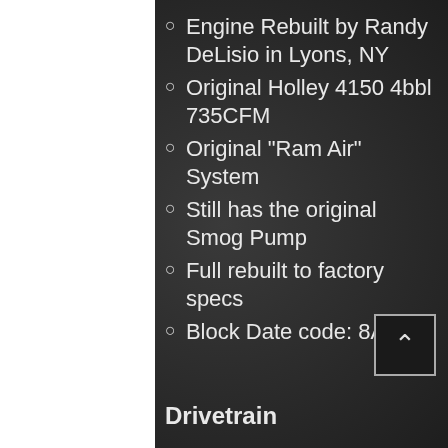Engine Rebuilt by Randy DeLisio in Lyons, NY
Original Holley 4150 4bbl 735CFM
Original "Ram Air" System
Still has the original Smog Pump
Full rebuilt to factory specs
Block Date code: 8A17
Drivetrain